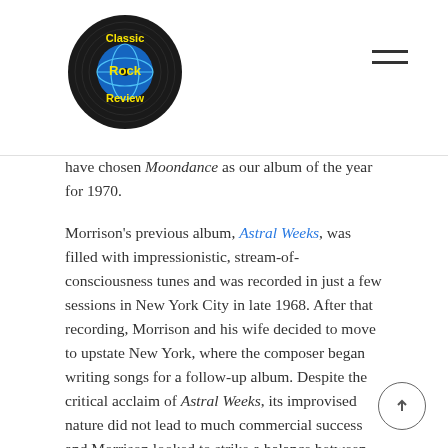Classic Rock Review
have chosen Moondance as our album of the year for 1970.
Morrison’s previous album, Astral Weeks, was filled with impressionistic, stream-of-consciousness tunes and was recorded in just a few sessions in New York City in late 1968. After that recording, Morrison and his wife decided to move to upstate New York, where the composer began writing songs for a follow-up album. Despite the critical acclaim of Astral Weeks, its improvised nature did not lead to much commercial success and Morrison looked to strike a balance between musical integrity and